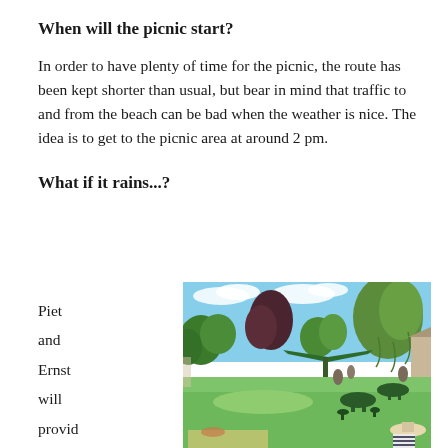When will the picnic start?
In order to have plenty of time for the picnic, the route has been kept shorter than usual, but bear in mind that traffic to and from the beach can be bad when the weather is nice. The idea is to get to the picnic area at around 2 pm.
What if it rains...?
Piet and Ernst will provide tents again as
[Figure (photo): Outdoor picnic area with green lawn, trees including a willow and a dark-leafed tree, a green canopy/umbrella structure, garden furniture with tables and stools, blue sky with clouds, and people gathered in the background.]